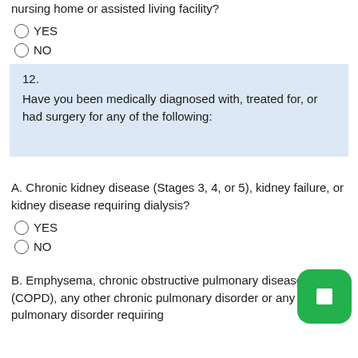nursing home or assisted living facility?
YES
NO
12.
Have you been medically diagnosed with, treated for, or had surgery for any of the following:
A. Chronic kidney disease (Stages 3, 4, or 5), kidney failure, or kidney disease requiring dialysis?
YES
NO
B. Emphysema, chronic obstructive pulmonary disease (COPD), any other chronic pulmonary disorder or any cardio-pulmonary disorder requiring